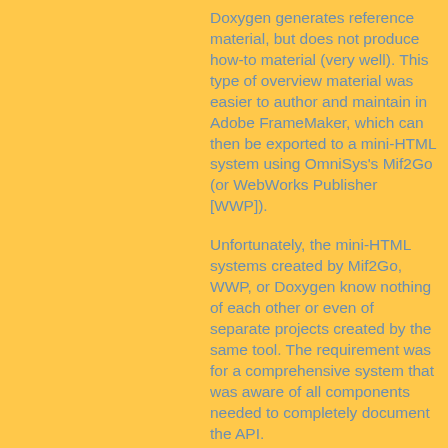Doxygen generates reference material, but does not produce how-to material (very well). This type of overview material was easier to author and maintain in Adobe FrameMaker, which can then be exported to a mini-HTML system using OmniSys's Mif2Go (or WebWorks Publisher [WWP]).
Unfortunately, the mini-HTML systems created by Mif2Go, WWP, or Doxygen know nothing of each other or even of separate projects created by the same tool. The requirement was for a comprehensive system that was aware of all components needed to completely document the API.
Hence, these tools were developed to wrap around the mini-HTML systems from the other tools. They generate a comprehensive table of contents, comprehensive index, and standardized navigation and look-&-feel. They are designed to support a modular structure of the...